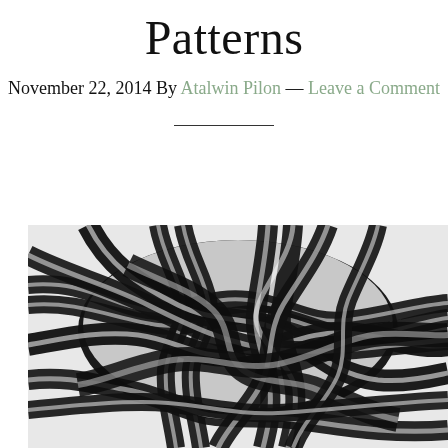Patterns
November 22, 2014 By Atalwin Pilon — Leave a Comment
[Figure (illustration): Close-up photograph of an intricate black and white braided knot artwork, showing interweaving ribbons or strands forming a complex knotted pattern against a light background.]